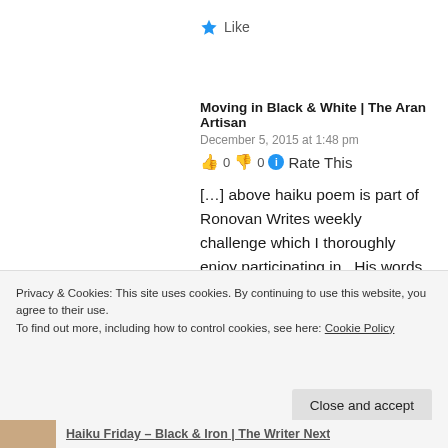★ Like
Moving in Black & White | The Aran Artisan
December 5, 2015 at 1:48 pm
👍 0 👎 0 ℹ Rate This
[…] above haiku poem is part of Ronovan Writes weekly challenge which I thoroughly enjoy participating in.  His words this week are 'black & white'.  Hop […]
Privacy & Cookies: This site uses cookies. By continuing to use this website, you agree to their use.
To find out more, including how to control cookies, see here: Cookie Policy
Close and accept
Haiku Friday – Back & Iron | The Writer Next